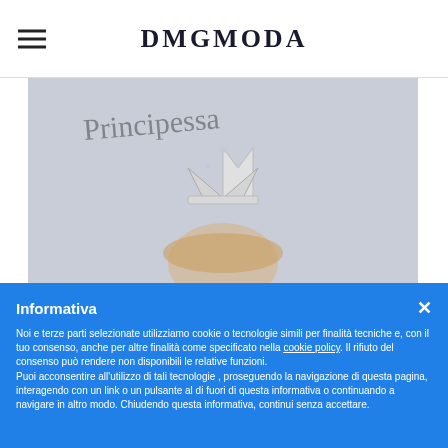DMGMODA
[Figure (photo): Photo of a person wearing a tiara/crown, with cursive handwritten text in the background on a light grey/blue background]
Informativa
Noi e terze parti selezionate utilizziamo cookie o tecnologie simili per finalità tecniche e, con il tuo consenso, anche per altre finalità come specificato nella cookie policy. Il rifiuto del consenso può rendere non disponibili le relative funzioni.
Puoi acconsentire all'utilizzo di tali tecnologie , proseguendo la navigazione di questa pagina, interagendo con un link o un pulsante al di fuori di questa informativa o continuando a navigare in altro modo. Chiudendo questa informativa, continui senza accettare.